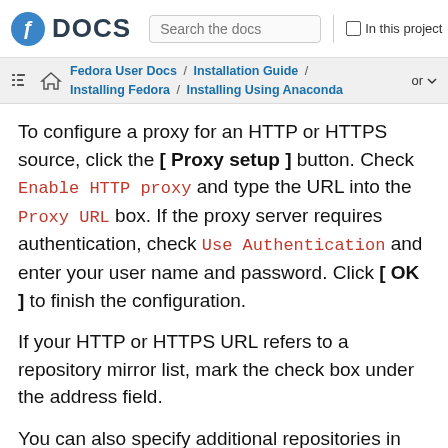DOCS | Search the docs | In this project
Fedora User Docs / Installation Guide / Installing Fedora / Installing Using Anaconda | or
To configure a proxy for an HTTP or HTTPS source, click the [ Proxy setup ] button. Check Enable HTTP proxy and type the URL into the Proxy URL box. If the proxy server requires authentication, check Use Authentication and enter your user name and password. Click [ OK ] to finish the configuration.
If your HTTP or HTTPS URL refers to a repository mirror list, mark the check box under the address field.
You can also specify additional repositories in the